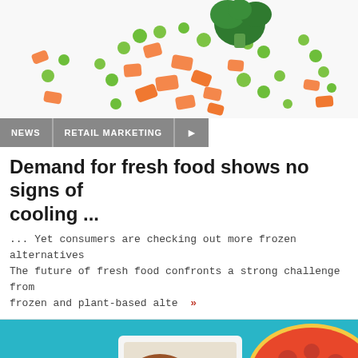[Figure (photo): Frozen mixed vegetables including peas, carrots, broccoli and other vegetables scattered on a white background]
NEWS | RETAIL MARKETING | share
Demand for fresh food shows no signs of cooling ...
... Yet consumers are checking out more frozen alternatives The future of fresh food confronts a strong challenge from frozen and plant-based alte »
[Figure (photo): Food delivery boxes and pizza on a teal/blue background, with various meal items in packaging]